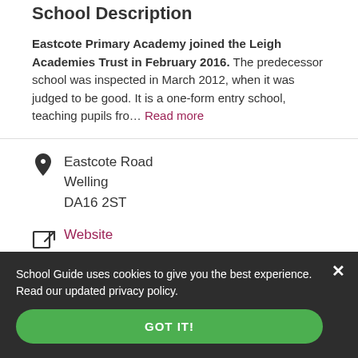School Description
Eastcote Primary Academy joined the Leigh Academies Trust in February 2016. The predecessor school was inspected in March 2012, when it was judged to be good. It is a one-form entry school, teaching pupils fro… Read more
Eastcote Road
Welling
DA16 2ST
Website
02088561346
School Guide uses cookies to give you the best experience. Read our updated privacy policy.
GOT IT!